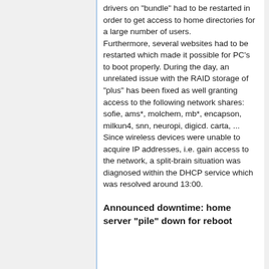drivers on "bundle" had to be restarted in order to get access to home directories for a large number of users. Furthermore, several websites had to be restarted which made it possible for PC's to boot properly. During the day, an unrelated issue with the RAID storage of "plus" has been fixed as well granting access to the following network shares: sofie, ams*, molchem, mb*, encapson, milkun4, snn, neuropi, digicd. carta, ... Since wireless devices were unable to acquire IP addresses, i.e. gain access to the network, a split-brain situation was diagnosed within the DHCP service which was resolved around 13:00.
Announced downtime: home server "pile" down for reboot